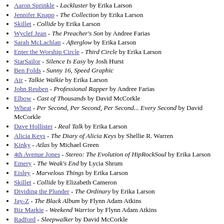Aaron Sprinkle - Lackluster by Erika Larson
Jennifer Knapp - The Collection by Erika Larson
Skillet - Collide by Erika Larson
Wyclef Jean - The Preacher's Son by Andree Farias
Sarah McLachlan - Afterglow by Erika Larson
Enter the Worship Circle - Third Circle by Erika Larson
StarSailor - Silence Is Easy by Josh Hurst
Ben Folds - Sunny 16, Speed Graphic
Air - Talkie Walkie by Erika Larson
John Reuben - Professional Rapper by Andree Farias
Elbow - Cast of Thousands by David McCorkle
Wheat - Per Second, Per Second, Per Second... Every Second by David McCorkle
Dave Hollister - Real Talk by Erika Larson
Alicia Keys - The Diary of Alicia Keys by Shellie R. Warren
Kinky - Atlas by Michael Green
4th Avenue Jones - Stereo: The Evolution of HipRockSoul by Erika Larson
Emery - The Weak's End by Lycia Shrum
Eisley - Marvelous Things by Erika Larson
Skillet - Collide by Elizabeth Cameron
Dividing the Plunder - The Ordinary by Erika Larson
Jay-Z - The Black Album by Flynn Adam Atkins
Biz Markie - Weekend Warrior by Flynn Adam Atkins
Radford - Sleepwalker by David McCorkle